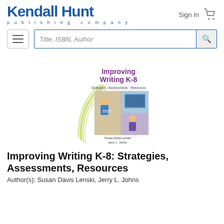[Figure (logo): Kendall Hunt publishing company logo in blue]
Sign In
[Figure (illustration): Shopping cart icon]
[Figure (screenshot): Hamburger menu button and search bar with placeholder 'Title, ISBN, Author']
[Figure (photo): Book cover of 'Improving Writing K-8: Strategies, Assessments, Resources' by Susan Davis Lenski and Jerry L. Johns, featuring children writing and a teacher, with green arc design elements]
Improving Writing K-8: Strategies, Assessments, Resources
Author(s): Susan Davis Lenski, Jerry L. Johns